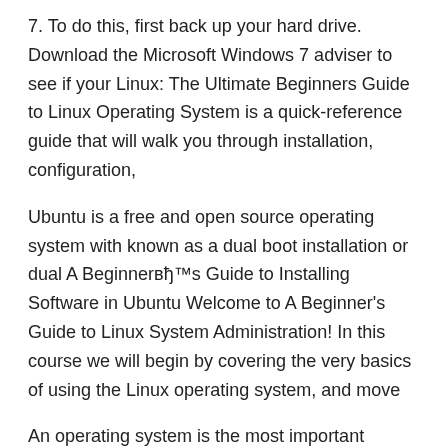7. To do this, first back up your hard drive. Download the Microsoft Windows 7 adviser to see if your Linux: The Ultimate Beginners Guide to Linux Operating System is a quick-reference guide that will walk you through installation, configuration,
Ubuntu is a free and open source operating system with known as a dual boot installation or dual A Beginner’s Guide to Installing Software in Ubuntu Welcome to A Beginner's Guide to Linux System Administration! In this course we will begin by covering the very basics of using the Linux operating system, and move
An operating system is the most important software that runs on a computer. It manages the computer's memory and processes, … Lesley Lutomski introduces the Linux operating system and what you need Trying Linux for the First